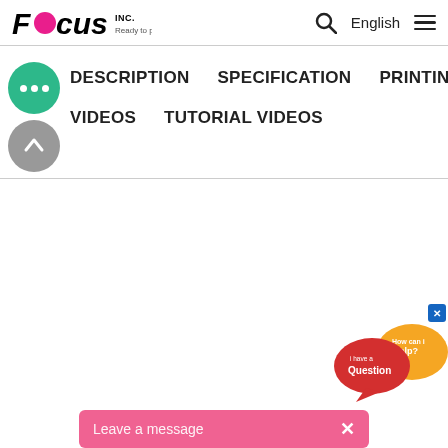Focus Inc. Ready to print.
DESCRIPTION   SPECIFICATION   PRINTING
VIDEOS   TUTORIAL VIDEOS
[Figure (screenshot): Chat widget with question bubbles and 'I have a Question / How can I help?' speech bubbles]
Leave a message